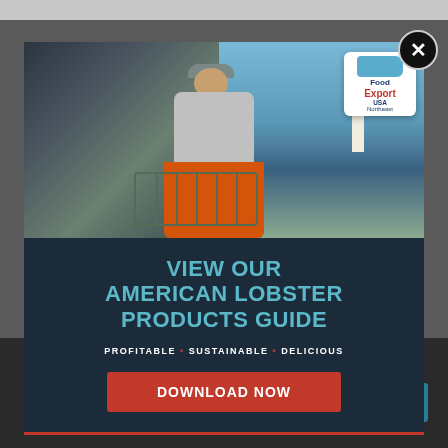[Figure (photo): Popup modal advertisement showing a fisherman on a boat working with lobster traps over water, with a lighthouse visible in the background. Food Export USA Northeast logo badge in upper right of photo.]
VIEW OUR AMERICAN LOBSTER PRODUCTS GUIDE
PROFITABLE • SUSTAINABLE • DELICIOUS
DOWNLOAD NOW
Accept Cookies